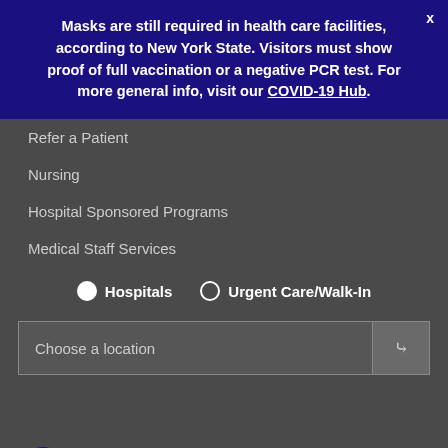Masks are still required in health care facilities, according to New York State. Visitors must show proof of full vaccination or a negative PCR test. For more general info, visit our COVID-19 Hub.
Refer a Patient
Nursing
Hospital Sponsored Programs
Medical Staff Services
Hospitals   Urgent Care/Walk-In
Choose a location
©2022 Icahn School of Medicine at Mount Sinai
Contact Us   Careers   Terms & Conditions